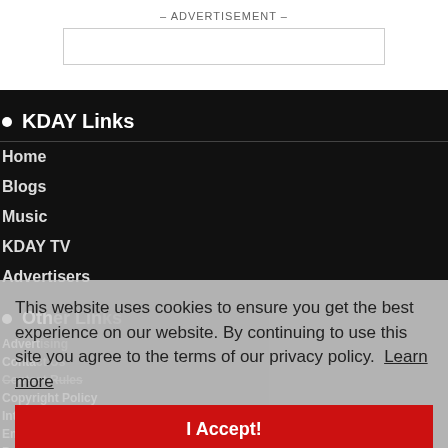– ADVERTISEMENT –
KDAY Links
Home
Blogs
Music
KDAY TV
Advertisers
Other Links
Advertising
Contact Us
Contest Rules
Copyright Policy
Intern with KDAY
Employment Opportunities
Privacy Policy
Terms of Use
This website uses cookies to ensure you get the best experience on our website. By continuing to use this site you agree to the terms of our privacy policy. Learn more
I Accept!